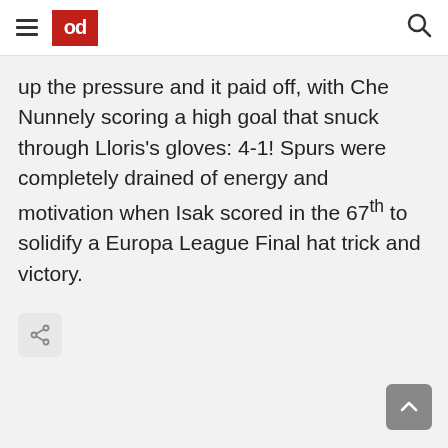od (logo)
up the pressure and it paid off, with Che Nunnely scoring a high goal that snuck through Lloris's gloves: 4-1! Spurs were completely drained of energy and motivation when Isak scored in the 67th to solidify a Europa League Final hat trick and victory.